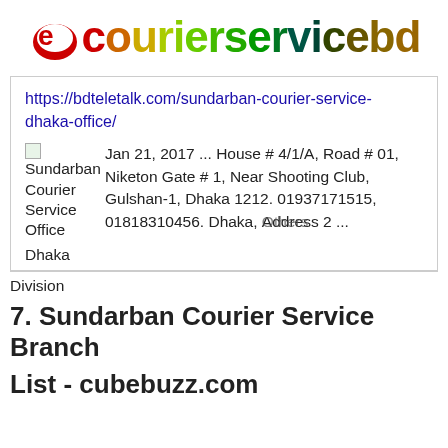[Figure (logo): ecourierservicebd logo with red stylized 'e' icon and gradient colored text]
https://bdteletalk.com/sundarban-courier-service-dhaka-office/
Sundarban Courier Service Office   Jan 21, 2017 ... House # 4/1/A, Road # 01, Niketon Gate # 1, Near Shooting Club, Gulshan-1, Dhaka 1212. 01937171515, 01818310456. Dhaka, Address 2 ...
Dhaka
Division
7. Sundarban Courier Service Branch
List - cubebuzz.com